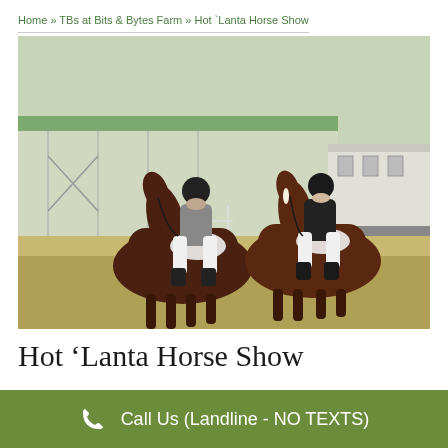Home » TBs at Bits & Bytes Farm » Hot `Lanta Horse Show
[Figure (photo): Two equestrians riding dark bay/brown horses side by side on a grassy arena. Left rider wears grey shirt, white breeches, black helmet; right rider wears black shirt, white breeches, black helmet. Background shows farm buildings and horse trailer.]
Hot 'Lanta Horse Show
Call Us (Landline - NO TEXTS)